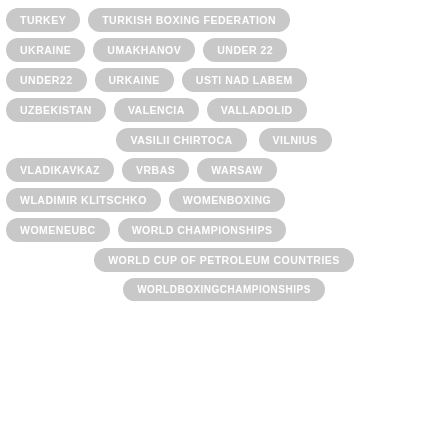TURKEY
TURKISH BOXING FEDERATION
UKRAINE
UMAKHANOV
UNDER 22
UNDER22
URKAINE
USTI NAD LABEM
UZBEKISTAN
VALENCIA
VALLADOLID
VASILII CHIRTOCA
VILNIUS
VLADIKAVKAZ
VRBAS
WARSAW
WLADIMIR KLITSCHKO
WOMENBOXING
WOMENEUBC
WORLD CHAMPIONSHIPS
WORLD CUP OF PETROLEUM COUNTRIES
WORLDBOXINGCHAMPIONSHIPS